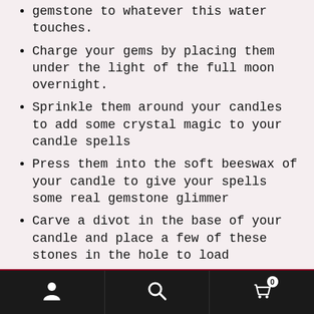gemstone to whatever this water touches.
Charge your gems by placing them under the light of the full moon overnight.
Sprinkle them around your candles to add some crystal magic to your candle spells
Press them into the soft beeswax of your candle to give your spells some real gemstone glimmer
Carve a divot in the base of your candle and place a few of these stones in the hole to load
Got questions? Email us at info@parlourofwonders.com
Dismiss
altar with these power stones
Navigation bar with account, search, and cart (0) icons